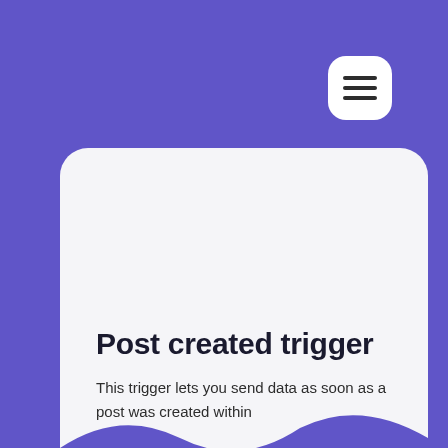[Figure (screenshot): Menu button with hamburger icon (three horizontal bars) on purple background, white rounded square button in top right corner]
Post created trigger
This trigger lets you send data as soon as a post was created within